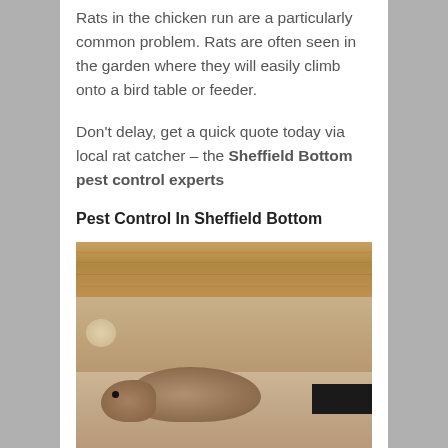Rats in the chicken run are a particularly common problem. Rats are often seen in the garden where they will easily climb onto a bird table or feeder.
Don't delay, get a quick quote today via local rat catcher – the Sheffield Bottom pest control experts
Pest Control In Sheffield Bottom
[Figure (photo): Photo of a rat near wooden cabinet/furniture base on a light-colored floor surface]